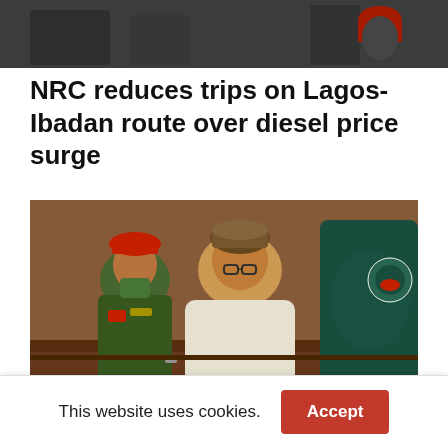[Figure (photo): Partial view of outdoor scene with people, one wearing a red hard hat]
NRC reduces trips on Lagos-Ibadan route over diesel price surge
[Figure (photo): A man in white traditional Nigerian attire and patterned cap seated at a desk, with a military officer in green uniform and red beret seated behind/next to him]
This website uses cookies.